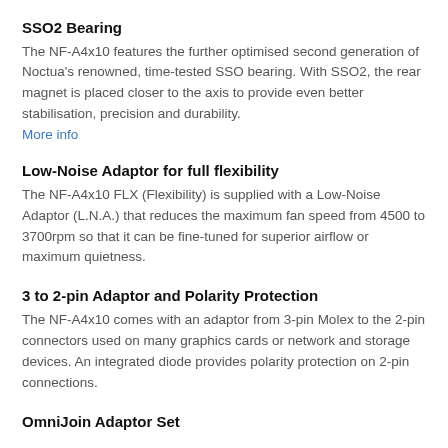SSO2 Bearing
The NF-A4x10 features the further optimised second generation of Noctua's renowned, time-tested SSO bearing. With SSO2, the rear magnet is placed closer to the axis to provide even better stabilisation, precision and durability.
More info
Low-Noise Adaptor for full flexibility
The NF-A4x10 FLX (Flexibility) is supplied with a Low-Noise Adaptor (L.N.A.) that reduces the maximum fan speed from 4500 to 3700rpm so that it can be fine-tuned for superior airflow or maximum quietness.
3 to 2-pin Adaptor and Polarity Protection
The NF-A4x10 comes with an adaptor from 3-pin Molex to the 2-pin connectors used on many graphics cards or network and storage devices. An integrated diode provides polarity protection on 2-pin connections.
OmniJoin Adaptor Set